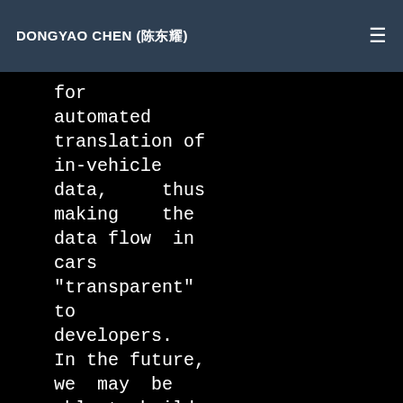DONGYAO CHEN (陈东耀)
for automated translation of in-vehicle data, thus making the data flow in cars "transparent" to developers. In the future, we may be able to build